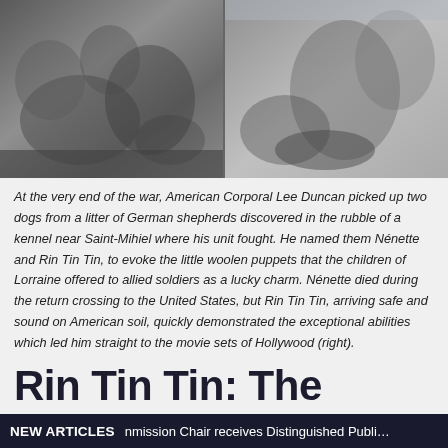[Figure (photo): Two black-and-white historical photographs side by side. Left photo shows a group of soldiers sitting on the ground with a small dog. Right photo shows a man in light clothing sitting outdoors with a German shepherd dog.]
At the very end of the war, American Corporal Lee Duncan picked up two dogs from a litter of German shepherds discovered in the rubble of a kennel near Saint-Mihiel where his unit fought. He named them Nénette and Rin Tin Tin, to evoke the little woolen puppets that the children of Lorraine offered to allied soldiers as a lucky charm. Nénette died during the return crossing to the United States, but Rin Tin Tin, arriving safe and sound on American soil, quickly demonstrated the exceptional abilities which led him straight to the movie sets of Hollywood (right).
Rin Tin Tin: The World War I True Story
NEW ARTICLES  nmission Chair receives Distinguished Public S